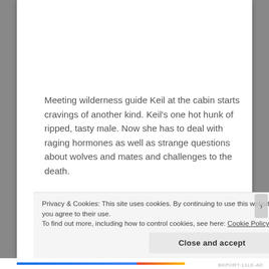Meeting wilderness guide Keil at the cabin starts cravings of another kind. Keil's one hot hunk of ripped, tasty male. Now she has to deal with raging hormones as well as strange questions about wolves and mates and challenges to the death.
Keil was trying for a nice reflective retreat before challenging for the Alpha position of his Alaskan
Privacy & Cookies: This site uses cookies. By continuing to use this website, you agree to their use.
To find out more, including how to control cookies, see here: Cookie Policy
Close and accept